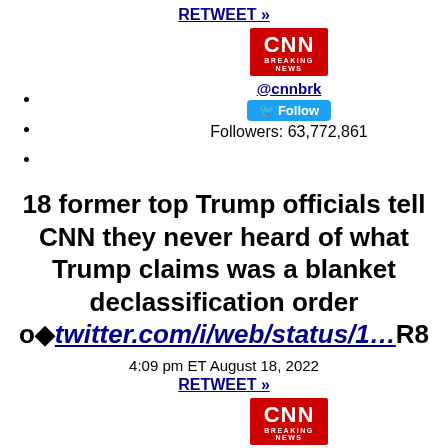RETWEET »
[Figure (logo): CNN Breaking News logo - red square with CNN in white bold text, BREAKING NEWS below in small white text]
@cnnbrk
Follow
Followers: 63,772,861
18 former top Trump officials tell CNN they never heard of what Trump claims was a blanket declassification order o�twitter.com/i/web/status/1…R8
4:09 pm ET August 18, 2022
RETWEET »
[Figure (logo): CNN Breaking News logo - red square with CNN in white bold text, BREAKING NEWS below in small white text]
@cnnbrk
Follow
Followers: 63,772,861